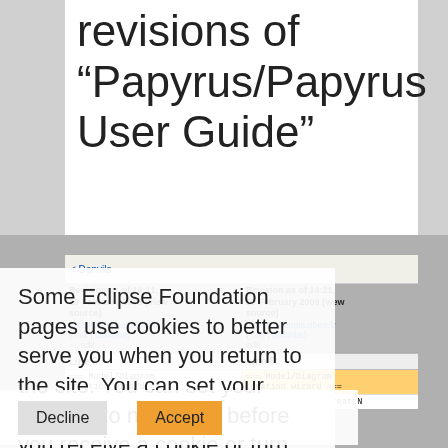revisions of "Papyrus/Papyrus User Guide"
Some Eclipse Foundation pages use cookies to better serve you when you return to the site. You can set your browser to notify you before you receive a cookie or turn off cookies. If you do so, however, some areas of some sites may not function properly. To read Eclipse Foundation Privacy Policy click here.
| Revision as of 14:11, 19 February 2009 (view source) | Revision as of 14:21, 19 February 2009 (view source) |
| --- | --- |
| Jerome.benois.obeo.fr (Talk | contribs) | Jerome.benois.obeo.fr (Talk | contribs) |
| ← edit → | edit → |
| Line 6: | Line 6: |
| === Model/Diagram creation wizard === | === Model/Diagram creation wizard === |
| [[Image:Papyrus_CreateN | [[Image:Papyrus_CreateN |
Decline
Accept